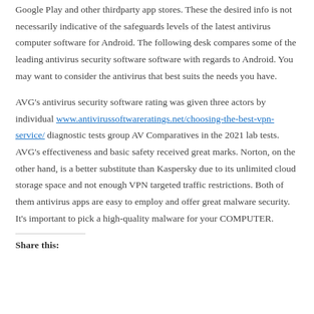Google Play and other thirdparty app stores. These the desired info is not necessarily indicative of the safeguards levels of the latest antivirus computer software for Android. The following desk compares some of the leading antivirus security software software with regards to Android. You may want to consider the antivirus that best suits the needs you have.
AVG's antivirus security software rating was given three actors by individual www.antivirussoftwareratings.net/choosing-the-best-vpn-service/ diagnostic tests group AV Comparatives in the 2021 lab tests. AVG's effectiveness and basic safety received great marks. Norton, on the other hand, is a better substitute than Kaspersky due to its unlimited cloud storage space and not enough VPN targeted traffic restrictions. Both of them antivirus apps are easy to employ and offer great malware security. It's important to pick a high-quality malware for your COMPUTER.
Share this: